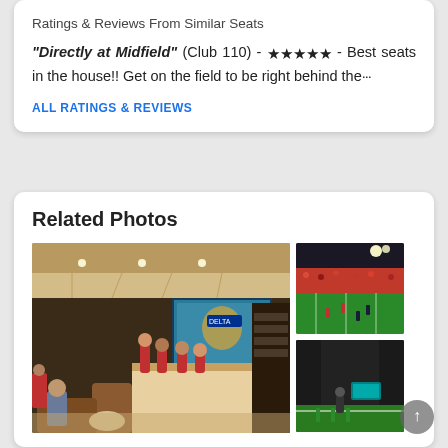Ratings & Reviews From Similar Seats
"Directly at Midfield" (Club 110) - ★★★★★ - Best seats in the house!! Get on the field to be right behind the…
ALL RATINGS & REVIEWS
Related Photos
[Figure (photo): Interior of a sports club lounge bar area with people sitting at bar stools and a large TV screen showing a football game. The lounge has warm lighting, a Delta sign visible, and fans wearing red.]
[Figure (photo): View of a football stadium field from club level seats, showing the green field and red-clad crowd.]
[Figure (photo): View of a stadium tunnel or walkway area near the field level, with green turf visible and overhead lighting.]